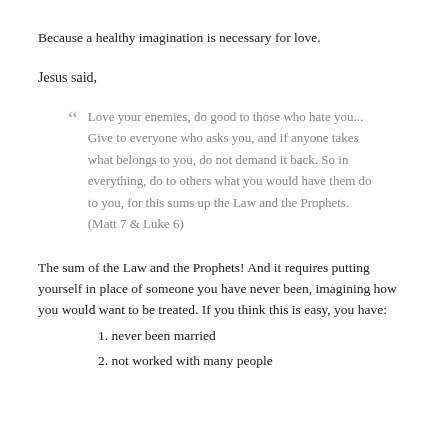Because a healthy imagination is necessary for love.
Jesus said,
Love your enemies, do good to those who hate you... Give to everyone who asks you, and if anyone takes what belongs to you, do not demand it back. So in everything, do to others what you would have them do to you, for this sums up the Law and the Prophets. (Matt 7 & Luke 6)
The sum of the Law and the Prophets! And it requires putting yourself in place of someone you have never been, imagining how you would want to be treated. If you think this is easy, you have:
1. never been married
2. not worked with many people